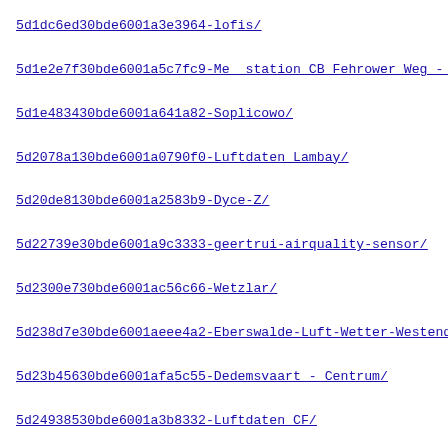5d1dc6ed30bde6001a3e3964-lofis/
5d1e2e7f30bde6001a5c7fc9-Me  station CB Fehrower Weg - K0
5d1e483430bde6001a641a82-Soplicowo/
5d2078a130bde6001a0790f0-Luftdaten Lambay/
5d20de8130bde6001a2583b9-Dyce-Z/
5d22739e30bde6001a9c3333-geertrui-airquality-sensor/
5d2300e730bde6001ac56c66-Wetzlar/
5d238d7e30bde6001aeee4a2-Eberswalde-Luft-Wetter-Westend/
5d23b45630bde6001afa5c55-Dedemsvaart - Centrum/
5d24938530bde6001a3b8332-Luftdaten CF/